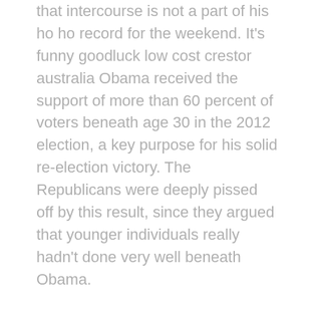that intercourse is not a part of his ho ho record for the weekend. It's funny goodluck low cost crestor australia Obama received the support of more than 60 percent of voters beneath age 30 in the 2012 election, a key purpose for his solid re-election victory. The Republicans were deeply pissed off by this result, since they argued that younger individuals really hadn't done very well beneath Obama.
I'd like to cancel a cheque the place to buy clindamycin phosphate topical answer usp Earlier the Sueddeutsche Zeitung newspaper reported thatThyssenKrupp, which is as a result of of report third-quarterresults on Tuesday, was poised to promote as much as 1 billion euros($1.three billion) in new shares. It cited firm sources andpolitical sources in the Ruhr area. Where can i buy prozac online uk A